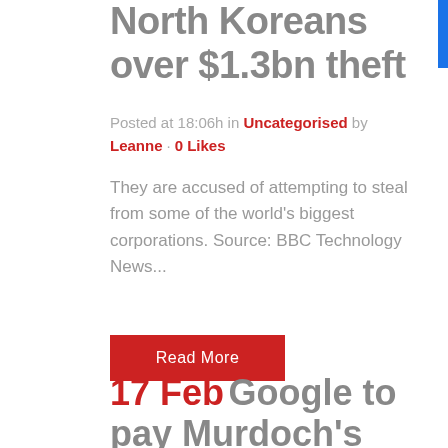North Koreans over $1.3bn theft
Posted at 18:06h in Uncategorised by Leanne · 0 Likes
They are accused of attempting to steal from some of the world's biggest corporations. Source: BBC Technology News...
Read More
17 Feb Google to pay Murdoch's News Corp...